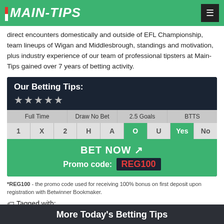MAIN-TIPS
direct encounters domestically and outside of EFL Championship, team lineups of Wigan and Middlesbrough, standings and motivation, plus industry experience of our team of professional tipsters at Main-Tips gained over 7 years of betting activity.
[Figure (infographic): Betting tips card showing Our Betting Tips with 5 stars, a grid with Full Time (1, X, 2), Draw No Bet (H, A), 2.5 Goals (O highlighted green, U), BTTS (Yes highlighted green, No), and a BET NOW button with Promo code REG100]
*REG100 - the promo code used for receiving 100% bonus on first deposit upon registration with Betwinner Bookmaker.
Tagged with:
More Today's Betting Tips